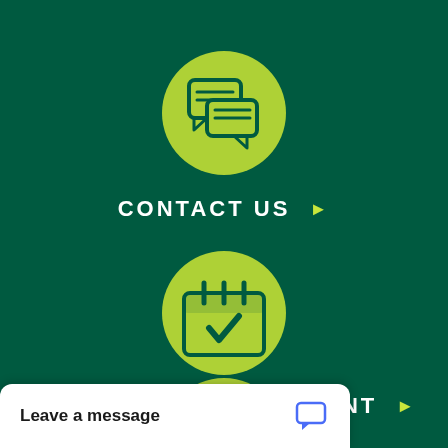[Figure (illustration): Yellow-green circle with chat/message bubbles icon on dark green background]
CONTACT US ▶
[Figure (illustration): Yellow-green circle with calendar/checkmark icon on dark green background]
SCHEDULE APPOINTMENT ▶
[Figure (illustration): Yellow-green circle with mobile phone icon on dark green background]
Leave a message